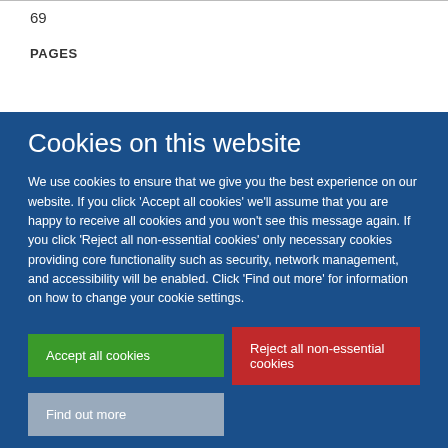69
PAGES
Cookies on this website
We use cookies to ensure that we give you the best experience on our website. If you click 'Accept all cookies' we'll assume that you are happy to receive all cookies and you won't see this message again. If you click 'Reject all non-essential cookies' only necessary cookies providing core functionality such as security, network management, and accessibility will be enabled. Click 'Find out more' for information on how to change your cookie settings.
Accept all cookies
Reject all non-essential cookies
Find out more